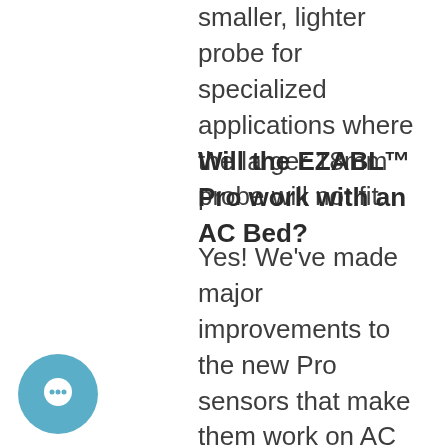smaller, lighter probe for specialized applications where the larger 18mm probe will not fit.
Will the EZABL™ Pro work with an AC Bed?
Yes! We've made major improvements to the new Pro sensors that make them work on AC beds that are properly connected with a quality SSR. If you use a good SSR (like the Mager we sell) then you will have no issues with your EZABL™ kit with an AC bed (and you can control the bed from your printer!)
[Figure (illustration): Circular chat/messaging icon with white speech bubble symbol on teal/blue background]